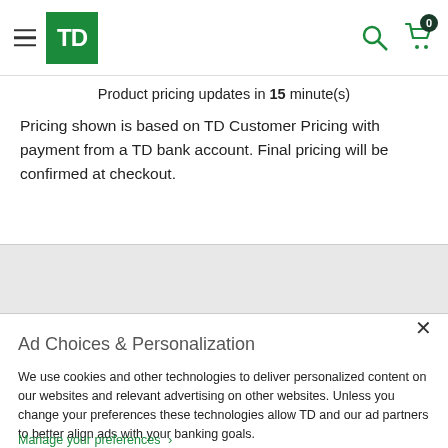TD Bank header with logo, hamburger menu, search icon, and cart icon showing 0
Product pricing updates in 15 minute(s)
Pricing shown is based on TD Customer Pricing with payment from a TD bank account. Final pricing will be confirmed at checkout.
Ad Choices & Personalization
We use cookies and other technologies to deliver personalized content on our websites and relevant advertising on other websites. Unless you change your preferences these technologies allow TD and our ad partners to better align ads with your banking goals.
Manage your preferences >